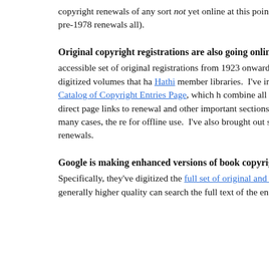copyright renewals of any sort not yet online at this point to my music prior to 1978, and a few small sets of pre-1978 renewals all).
Original copyright registrations are also going online at a ra
accessible set of original registrations from 1923 onward (the da force) is at Hathi Trust, and consists of digitized volumes that ha Hathi member libraries. I've include them in a list of registratio type of work on my Catalog of Copyright Entries Page, which h combine all the original and renewal registrations known to be a direct page links to renewal and other important sections of the looking for those can go to them directly. In many cases, the re for offline use. I've also brought out statistics from the volumes rate of registrations and renewals.
Google is making enhanced versions of book copyright regis
Specifically, they've digitized the full set of original and renewa 1922-1977, in a set of scans that are of generally higher quality can search the full text of the entire set at once, or search or br